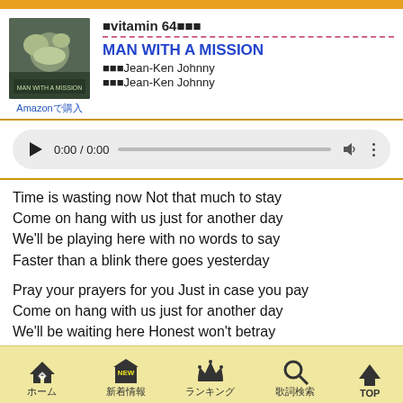vitamin 64
MAN WITH A MISSION
作詞Jean-Ken Johnny
作曲Jean-Ken Johnny
[Figure (screenshot): Audio player with play button, time 0:00/0:00, progress bar, volume icon and more icon]
Time is wasting now Not that much to stay
Come on hang with us just for another day
We'll be playing here with no words to say
Faster than a blink there goes yesterday

Pray your prayers for you Just in case you pay
Come on hang with us just for another day
We'll be waiting here Honest won't betray
It's no use to think we just don't make any sense.
ホーム　新着情報　ランキング　歌詞検索　TOP